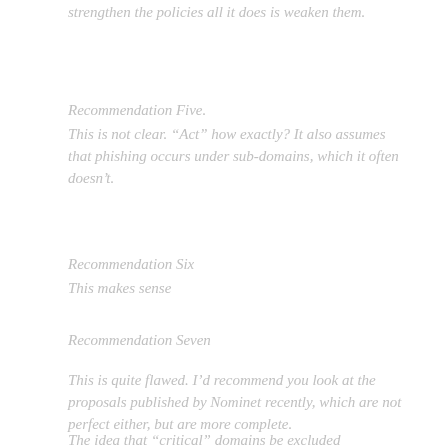strengthen the policies all it does is weaken them.
Recommendation Five.
This is not clear. “Act” how exactly? It also assumes that phishing occurs under sub-domains, which it often doesn’t.
Recommendation Six
This makes sense
Recommendation Seven
This is quite flawed. I’d recommend you look at the proposals published by Nominet recently, which are not perfect either, but are more complete.
The idea that “critical” domains be excluded